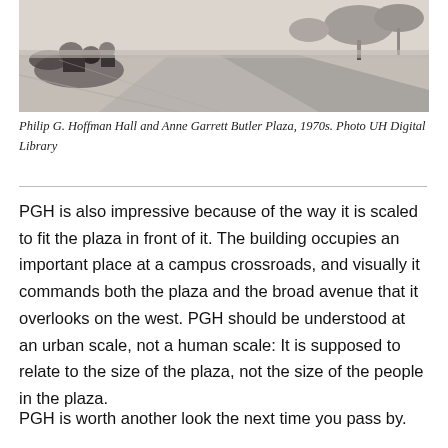[Figure (photo): Black and white photograph of Philip G. Hoffman Hall and Anne Garrett Butler Plaza in the 1970s, showing people sitting outdoors near pathways and trees]
Philip G. Hoffman Hall and Anne Garrett Butler Plaza, 1970s. Photo UH Digital Library
PGH is also impressive because of the way it is scaled to fit the plaza in front of it. The building occupies an important place at a campus crossroads, and visually it commands both the plaza and the broad avenue that it overlooks on the west. PGH should be understood at an urban scale, not a human scale: It is supposed to relate to the size of the plaza, not the size of the people in the plaza.
PGH is worth another look the next time you pass by. Because of this and other Brutalist building...